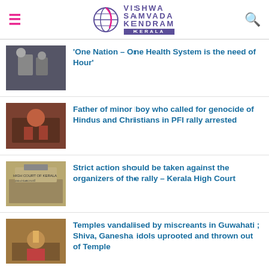Vishwa Samvada Kendram Kerala
'One Nation – One Health System is the need of Hour'
Father of minor boy who called for genocide of Hindus and Christians in PFI rally arrested
Strict action should be taken against the organizers of the rally – Kerala High Court
Temples vandalised by miscreants in Guwahati ; Shiva, Ganesha idols uprooted and thrown out of Temple
Islamic terrorist Yasin Malik sentenced to life imprisonment in terror funding case